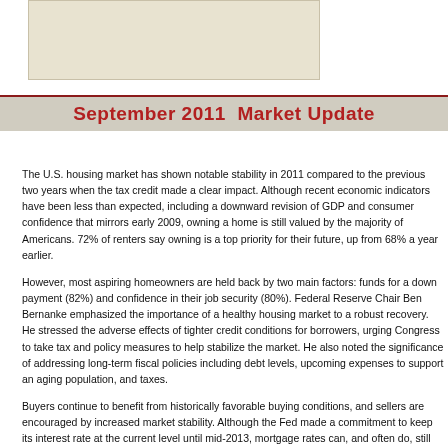[Figure (other): Decorative image placeholder at top of page]
September 2011  Market Update
The U.S. housing market has shown notable stability in 2011 compared to the previous two years when the tax credit made a clear impact. Although recent economic indicators have been less than expected, including a downward revision of GDP and consumer confidence that mirrors early 2009, owning a home is still valued by the majority of Americans. 72% of renters say owning is a top priority for their future, up from 68% a year earlier.
However, most aspiring homeowners are held back by two main factors: funds for a down payment (82%) and confidence in their job security (80%). Federal Reserve Chair Ben Bernanke emphasized the importance of a healthy housing market to a robust recovery. He stressed the adverse effects of tighter credit conditions for borrowers, urging Congress to take tax and policy measures to help stabilize the market. He also noted the significance of addressing long-term fiscal policies including debt levels, upcoming expenses to support an aging population, and taxes.
Buyers continue to benefit from historically favorable buying conditions, and sellers are encouraged by increased market stability. Although the Fed made a commitment to keep its interest rate at the current level until mid-2013, mortgage rates can, and often do, still fluctuate. In the midst of these reports, it is important to keep in mind the path to recovery was always expected to be a long and uneven road. As we progress toward a stronger recovery, economic